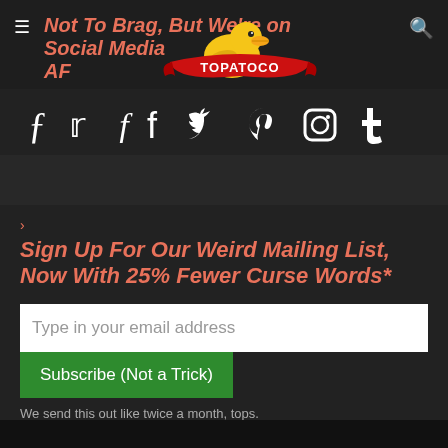Not To Brag, But We're on Social Media AF
[Figure (logo): TOPATOCO logo with cartoon duck and red banner]
[Figure (infographic): Social media icons: Facebook, Twitter, Pinterest, Instagram, Tumblr]
Sign Up For Our Weird Mailing List, Now With 25% Fewer Curse Words*
Type in your email address
Subscribe (Not a Trick)
We send this out like twice a month, tops.